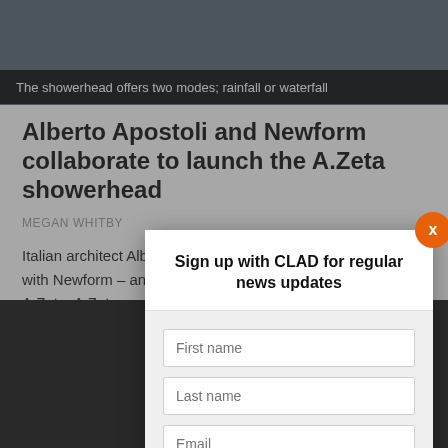[Figure (photo): Photo of a showerhead from above, dark background]
The showerhead offers two modes; rainfall or waterfall
Alberto Apostoli and Newform collaborate to launch the A.Zeta showerhead
MEGAN WHITBY
Italian architect Alberto Apostoli has renewed his partnership with Newform – an Italian wellness company – and designed A.Zeta. A.Zeta …
SHARE T
[Figure (photo): Dark photo with red lighting, partially visible]
Sign up with CLAD for regular news updates
First name
Last name
Email
SIGN UP